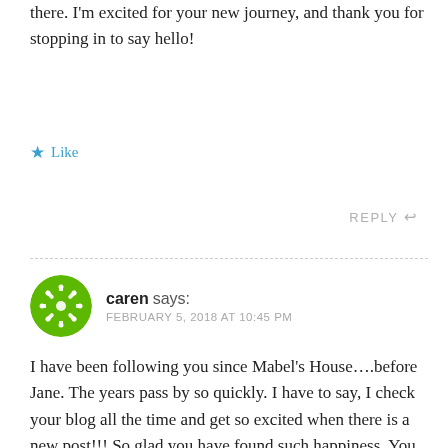there. I'm excited for your new journey, and thank you for stopping in to say hello!
★ Like
REPLY ↩
caren says: FEBRUARY 5, 2018 AT 10:45 PM
I have been following you since Mabel's House….before Jane. The years pass by so quickly. I have to say, I check your blog all the time and get so excited when there is a new post!!! So glad you have found such happiness. You deserve it.